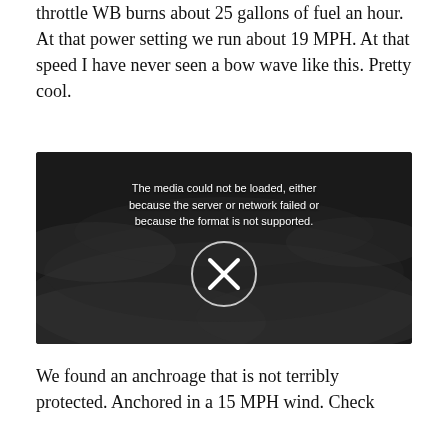throttle WB burns about 25 gallons of fuel an hour. At that power setting we run about 19 MPH. At that speed I have never seen a bow wave like this. Pretty cool.
[Figure (screenshot): Video player showing an error message: 'The media could not be loaded, either because the server or network failed or because the format is not supported.' with an X icon circle button overlaid on a dark smoky background image.]
We found an anchroage that is not terribly protected. Anchored in a 15 MPH wind. Check